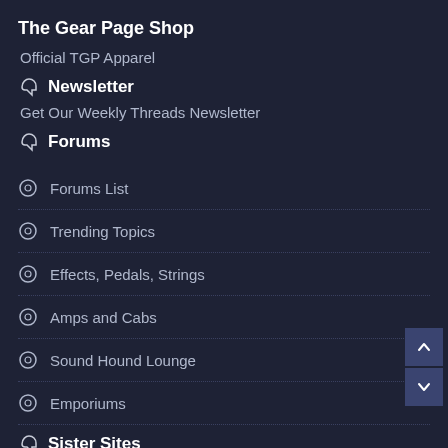The Gear Page Shop
Official TGP Apparel
Newsletter
Get Our Weekly Threads Newsletter
Forums
Forums List
Trending Topics
Effects, Pedals, Strings
Amps and Cabs
Sound Hound Lounge
Emporiums
Sister Sites